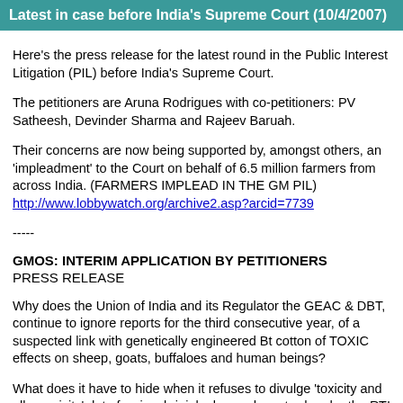Latest in case before India's Supreme Court (10/4/2007)
Here's the press release for the latest round in the Public Interest Litigation (PIL) before India's Supreme Court.
The petitioners are Aruna Rodrigues with co-petitioners: PV Satheesh, Devinder Sharma and Rajeev Baruah.
Their concerns are now being supported by, amongst others, an 'impleadment' to the Court on behalf of 6.5 million farmers from across India. (FARMERS IMPLEAD IN THE GM PIL) http://www.lobbywatch.org/archive2.asp?arcid=7739
-----
GMOS: INTERIM APPLICATION BY PETITIONERS
PRESS RELEASE
Why does the Union of India and its Regulator the GEAC & DBT, continue to ignore reports for the third consecutive year, of a suspected link with genetically engineered Bt cotton of TOXIC effects on sheep, goats, buffaloes and human beings?
What does it have to hide when it refuses to divulge 'toxicity and allergenicity' data for rice, brinjal, okra and mustard under the RTI requested by Greenpeace, citing support of the industry position of